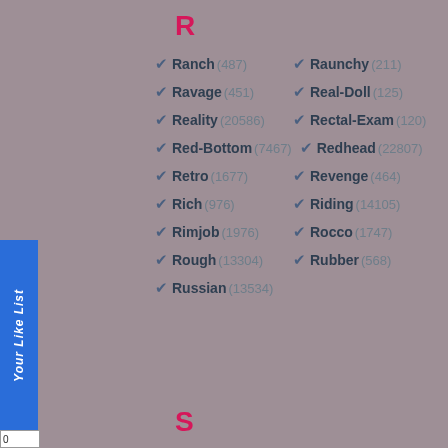R
Ranch (487)
Raunchy (211)
Ravage (451)
Real-Doll (125)
Reality (20586)
Rectal-Exam (120)
Red-Bottom (7467)
Redhead (22807)
Retro (1677)
Revenge (464)
Rich (976)
Riding (14105)
Rimjob (1976)
Rocco (1747)
Rough (13304)
Rubber (568)
Russian (13534)
S